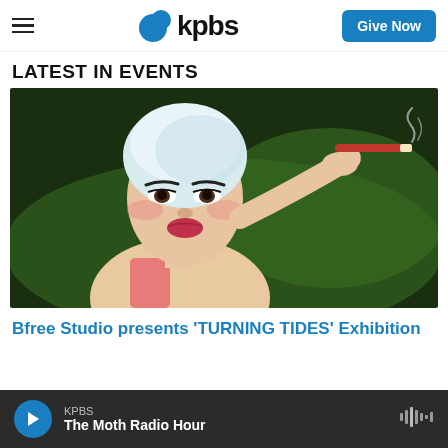KPBS | Give Now
LATEST IN EVENTS
[Figure (illustration): Painting of a woman wearing a white swim cap, holding a cigarette, with red lipstick, heavy eye makeup, against a green background]
Bfree Studio presents 'TURNING TIDES' Exhibition
KPBS | The Moth Radio Hour